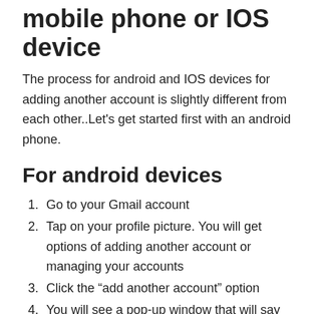mobile phone or IOS device
The process for android and IOS devices for adding another account is slightly different from each other..Let’s get started first with an android phone.
For android devices
Go to your Gmail account
Tap on your profile picture. You will get options of adding another account or managing your accounts
Click the “add another account” option
You will see a pop-up window that will say